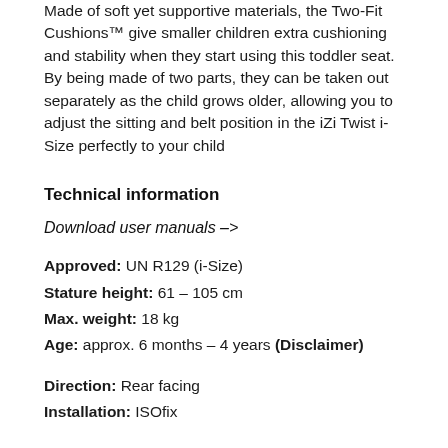Made of soft yet supportive materials, the Two-Fit Cushions™ give smaller children extra cushioning and stability when they start using this toddler seat. By being made of two parts, they can be taken out separately as the child grows older, allowing you to adjust the sitting and belt position in the iZi Twist i-Size perfectly to your child
Technical information
Download user manuals ->
Approved: UN R129 (i-Size)
Stature height: 61 – 105 cm
Max. weight: 18 kg
Age: approx. 6 months – 4 years (Disclaimer)
Direction: Rear facing
Installation: ISOfix